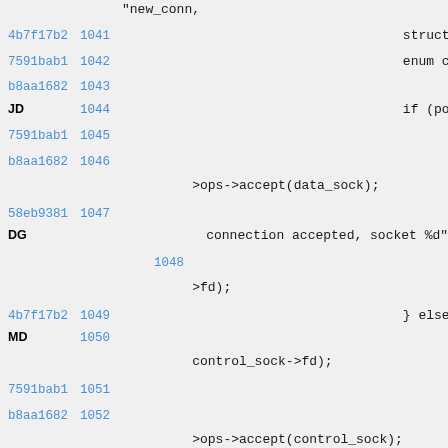"new_conn,
4b7f17b2 1041   struct lt
7591bab1 1042   enum conn
b8aa1682 1043
JD
1044   if (pollf
7591bab1 1045   t
b8aa1682 1046   n
>ops->accept(data_sock);
58eb9381 1047   D
DG
connection accepted, socket %d",
1048
>fd);
4b7f17b2 1049   } else {
MD
1050   a
control_sock->fd);
7591bab1 1051   t
b8aa1682 1052   n
>ops->accept(control_sock);